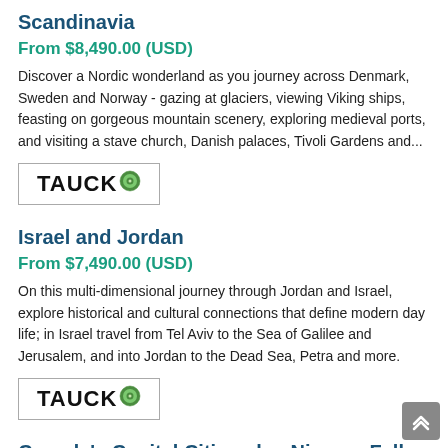Scandinavia
From $8,490.00 (USD)
Discover a Nordic wonderland as you journey across Denmark, Sweden and Norway - gazing at glaciers, viewing Viking ships, feasting on gorgeous mountain scenery, exploring medieval ports, and visiting a stave church, Danish palaces, Tivoli Gardens and...
[Figure (logo): TAUCK logo with circular green emblem]
Israel and Jordan
From $7,490.00 (USD)
On this multi-dimensional journey through Jordan and Israel, explore historical and cultural connections that define modern day life; in Israel travel from Tel Aviv to the Sea of Galilee and Jerusalem, and into Jordan to the Dead Sea, Petra and more.
[Figure (logo): TAUCK logo with circular green emblem]
Canada's Capital Cities plus Niagara Falls
From $5,590.00 (USD)
Travel through the capital cities of Eastern Canada - Montreal, Toronto, Quebec City, and the national capital, Ottawa